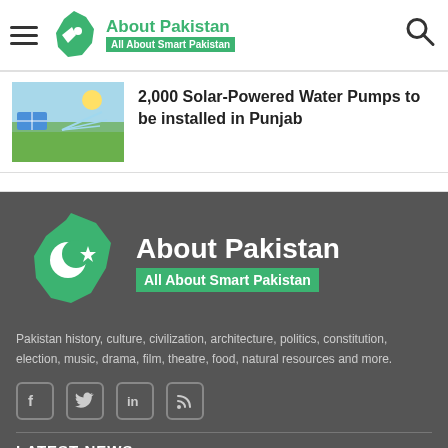About Pakistan — All About Smart Pakistan
2,000 Solar-Powered Water Pumps to be installed in Punjab
[Figure (photo): Photo of solar-powered water irrigation in agricultural field]
[Figure (logo): About Pakistan logo with Pakistan map illustration and tagline All About Smart Pakistan on green background]
Pakistan history, culture, civilization, architecture, politics, constitution, election, music, drama, film, theatre, food, natural resources and more.
LATEST NEWS